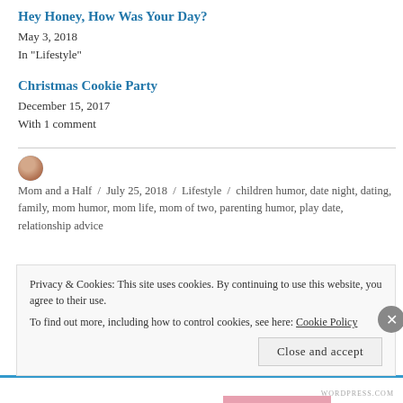Hey Honey, How Was Your Day?
May 3, 2018
In "Lifestyle"
Christmas Cookie Party
December 15, 2017
With 1 comment
Mom and a Half / July 25, 2018 / Lifestyle / children humor, date night, dating, family, mom humor, mom life, mom of two, parenting humor, play date, relationship advice
Privacy & Cookies: This site uses cookies. By continuing to use this website, you agree to their use.
To find out more, including how to control cookies, see here: Cookie Policy
Close and accept